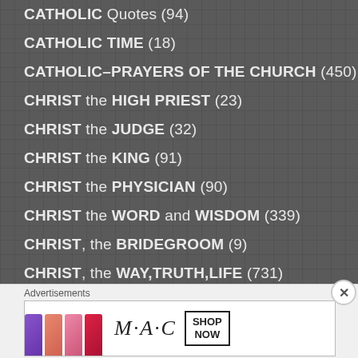CATHOLIC Quotes (94)
CATHOLIC TIME (18)
CATHOLIC–PRAYERS OF THE CHURCH (450)
CHRIST the HIGH PRIEST (23)
CHRIST the JUDGE (32)
CHRIST the KING (91)
CHRIST the PHYSICIAN (90)
CHRIST the WORD and WISDOM (339)
CHRIST, the BRIDEGROOM (9)
CHRIST, the WAY,TRUTH,LIFE (731)
CHRISTMASTIDE! (331)
Advertisements
[Figure (other): MAC cosmetics advertisement banner with lipsticks and SHOP NOW button]